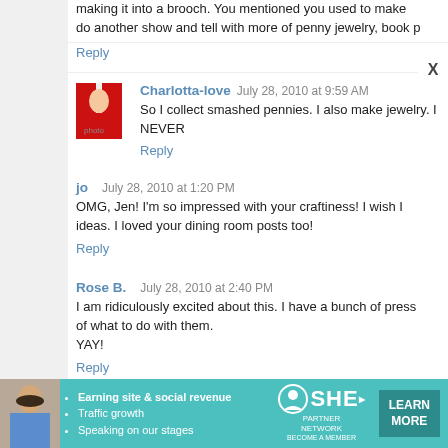making it into a brooch. You mentioned you used to make do another show and tell with more of penny jewelry, book p
Reply
Charlotta-love  July 28, 2010 at 9:59 AM
So I collect smashed pennies. I also make jewelry. I NEVER
Reply
jo  July 28, 2010 at 1:20 PM
OMG, Jen! I'm so impressed with your craftiness! I wish I ideas. I loved your dining room posts too!
Reply
Rose B.  July 28, 2010 at 2:40 PM
I am ridiculously excited about this. I have a bunch of press of what to do with them.
YAY!
Reply
[Figure (advertisement): SHE Partner Network advertisement banner with teal background, woman photo, bullet points about Earning site & social revenue, Traffic growth, Speaking on our stages, SHE logo, and LEARN MORE button]